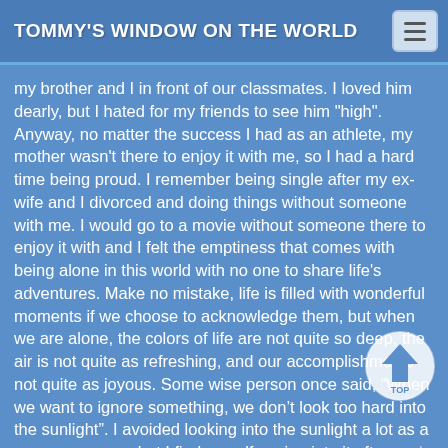TOMMY'S WINDOW ON THE WORLD
my brother and I in front of our classmates.  I loved him dearly, but I hated for my friends to see him "high".  Anyway, no matter the success I had as an athlete, my mother wasn't there to enjoy it with me, so I had a hard time being proud.  I remember being single after my ex-wife and I divorced and doing things without someone with me.  I would go to a movie without someone there to enjoy it with and I felt the emptiness that comes with being alone in this world with no one to share life's adventures.  Make no mistake, life is filled with wonderful moments if we choose to acknowledge them, but when we are alone, the colors of life are not quite so deep, the air is not quite as refreshing, and our accomplishments not quite as joyous. Some wise person once said, “When we want to ignore something, we don’t look too hard into the sunlight”.  I avoided looking into the sunlight a lot as a younger person, but I find myself gazing into it often as I have gotten older 😊.
Wherever you are in this world, I hope your family loves